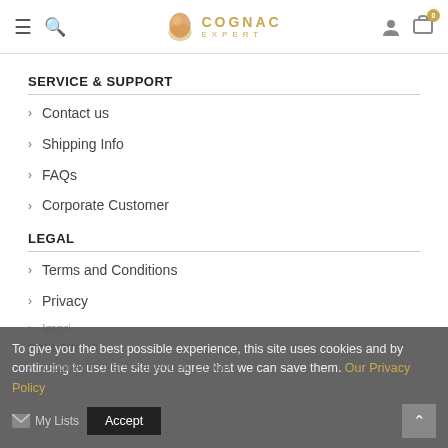Cognac Expert — site header with navigation icons and logo
SERVICE & SUPPORT
Contact us
Shipping Info
FAQs
Corporate Customer
LEGAL
Terms and Conditions
Privacy
FOLLOW US
Cognac Lovers Facebook Group
To give you the best possible experience, this site uses cookies and by continuing to use the site you agree that we can save them. Our Privacy Policy